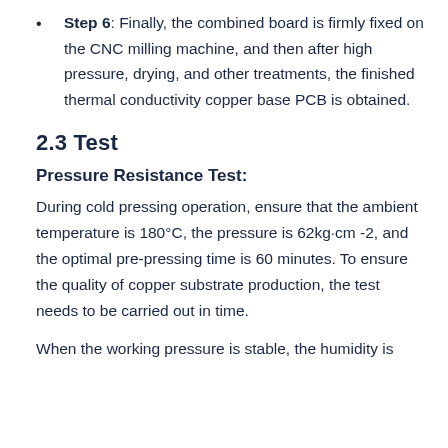Step 6: Finally, the combined board is firmly fixed on the CNC milling machine, and then after high pressure, drying, and other treatments, the finished thermal conductivity copper base PCB is obtained.
2.3 Test
Pressure Resistance Test:
During cold pressing operation, ensure that the ambient temperature is 180°C, the pressure is 62kg·cm -2, and the optimal pre-pressing time is 60 minutes. To ensure the quality of copper substrate production, the test needs to be carried out in time.
When the working pressure is stable, the humidity is